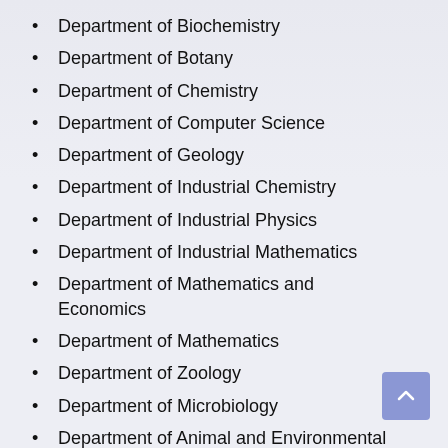Department of Biochemistry
Department of Botany
Department of Chemistry
Department of Computer Science
Department of Geology
Department of Industrial Chemistry
Department of Industrial Physics
Department of Industrial Mathematics
Department of Mathematics and Economics
Department of Mathematics
Department of Zoology
Department of Microbiology
Department of Animal and Environmental Biology
Department of Plant Biology and Biotechnology